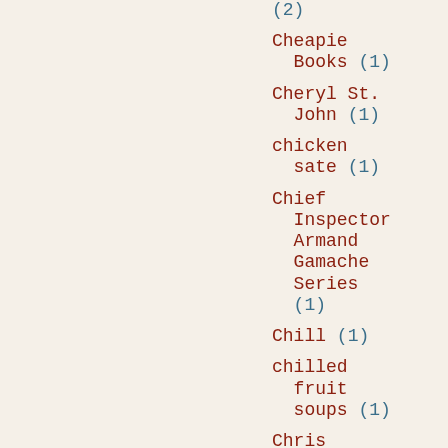(2)
Cheapie Books (1)
Cheryl St. John (1)
chicken sate (1)
Chief Inspector Armand Gamache Series (1)
Chill (1)
chilled fruit soups (1)
Chris